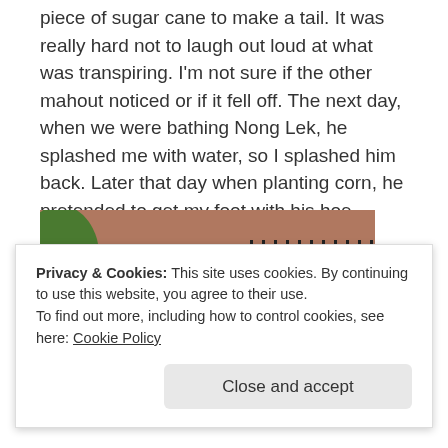piece of sugar cane to make a tail. It was really hard not to laugh out loud at what was transpiring. I'm not sure if the other mahout noticed or if it fell off. The next day, when we were bathing Nong Lek, he splashed me with water, so I splashed him back. Later that day when planting corn, he pretended to get my foot with his hoe.
[Figure (photo): A person in a blue jacket working on or near a wooden structure, possibly a shelter or building with a corrugated roof.]
Privacy & Cookies: This site uses cookies. By continuing to use this website, you agree to their use.
To find out more, including how to control cookies, see here: Cookie Policy